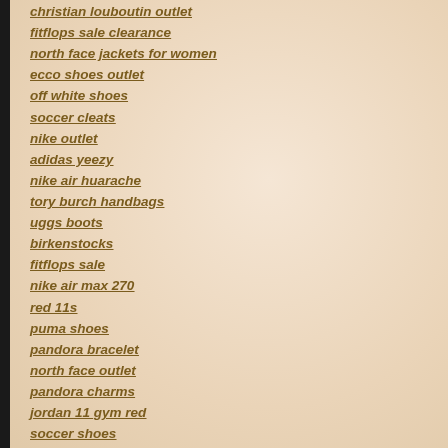christian louboutin outlet
fitflops sale clearance
north face jackets for women
ecco shoes outlet
off white shoes
soccer cleats
nike outlet
adidas yeezy
nike air huarache
tory burch handbags
uggs boots
birkenstocks
fitflops sale
nike air max 270
red 11s
puma shoes
pandora bracelet
north face outlet
pandora charms
jordan 11 gym red
soccer shoes
mbt shoes clearance outlet
golden goose shoes
nike clearance outlet
ecco shoes for women
clark shoes
bottega veneta